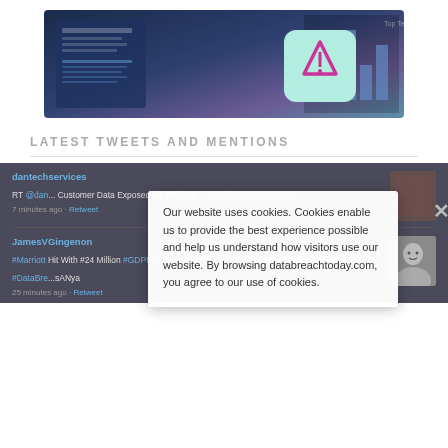[Figure (illustration): Promotional illustration showing documents and a warning/alert icon on a dark blue-purple gradient background]
LATEST TWEETS AND MENTIONS
dantechservices
RT @dan... Customer Data Exposed via Phishing... https://t.co/tZopRjcDBk
7 minutes ago · Retweet
JamesVGingenon
#Marriott Hit With #24 Million #GDPR Privacy Fine Over #Breach (databreachtoday) #Breach #DataBre... ...sANya
25 minutes ago · Retweet
Our website uses cookies. Cookies enable us to provide the best experience possible and help us understand how visitors use our website. By browsing databreachtoday.com, you agree to our use of cookies.